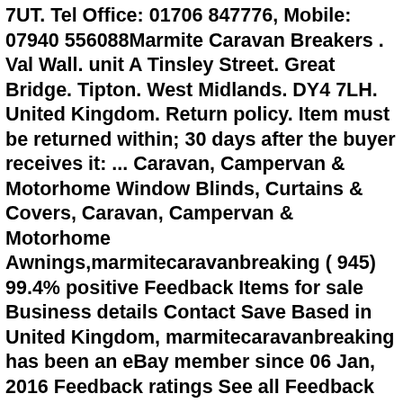7UT. Tel Office: 01706 847776, Mobile: 07940 556088Marmite Caravan Breakers . Val Wall. unit A Tinsley Street. Great Bridge. Tipton. West Midlands. DY4 7LH. United Kingdom. Return policy. Item must be returned within; 30 days after the buyer receives it: ... Caravan, Campervan & Motorhome Window Blinds, Curtains & Covers, Caravan, Campervan & Motorhome Awnings,marmitecaravanbreaking ( 945) 99.4% positive Feedback Items for sale Business details Contact Save Based in United Kingdom, marmitecaravanbreaking has been an eBay member since 06 Jan, 2016 Feedback ratings See all Feedback 152Item as described 153Communication 156Dispatch time 152Postage 163 Positive 0 Neutral 1 Negative The first waltz box is a foundational step and one of the first steps you should learn. One, two, three. Swinging joined inside hands forward, step forward on outside foot, M L and W R (ct. l), place R beside L retaining weight on L (ct. 2), hold with weight on L (ct. 3). marmite caravan breakers. spotting 4 weeks after miscarriage mumsnet. solo